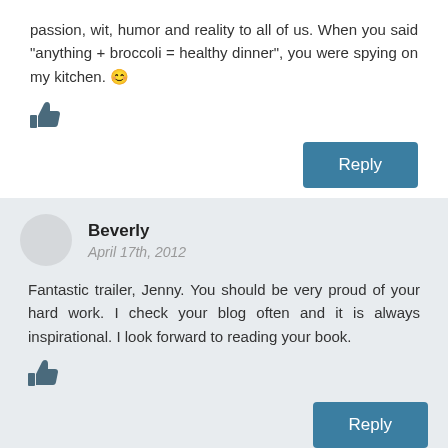passion, wit, humor and reality to all of us. When you said “anything + broccoli = healthy dinner”, you were spying on my kitchen. 😊
[Figure (other): Thumbs up like icon]
Reply
Beverly
April 17th, 2012
Fantastic trailer, Jenny. You should be very proud of your hard work. I check your blog often and it is always inspirational. I look forward to reading your book.
[Figure (other): Thumbs up like icon]
Reply